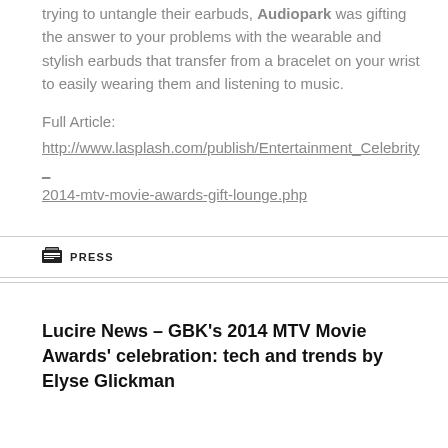trying to untangle their earbuds, Audiopark was gifting the answer to your problems with the wearable and stylish earbuds that transfer from a bracelet on your wrist to easily wearing them and listening to music.
Full Article:
http://www.lasplash.com/publish/Entertainment_Celebrity_2014-mtv-movie-awards-gift-lounge.php
PRESS
Lucire News – GBK's 2014 MTV Movie Awards' celebration: tech and trends by Elyse Glickman